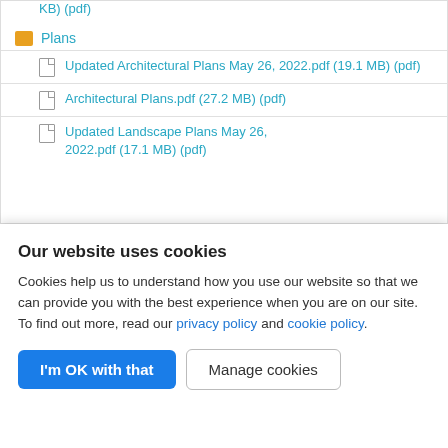KB) (pdf)
Plans
Updated Architectural Plans May 26, 2022.pdf (19.1 MB) (pdf)
Architectural Plans.pdf (27.2 MB) (pdf)
Updated Landscape Plans May 26, 2022.pdf (17.1 MB) (pdf)
Our website uses cookies
Cookies help us to understand how you use our website so that we can provide you with the best experience when you are on our site. To find out more, read our privacy policy and cookie policy.
I'm OK with that   Manage cookies